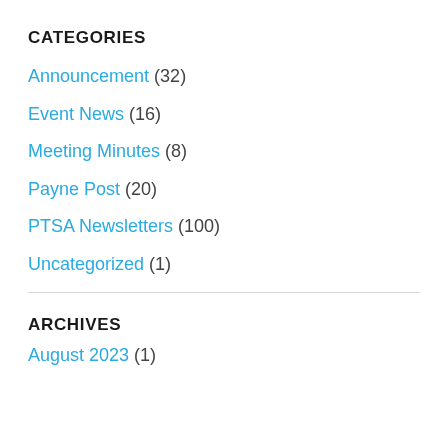CATEGORIES
Announcement (32)
Event News (16)
Meeting Minutes (8)
Payne Post (20)
PTSA Newsletters (100)
Uncategorized (1)
ARCHIVES
August 2023 (1)